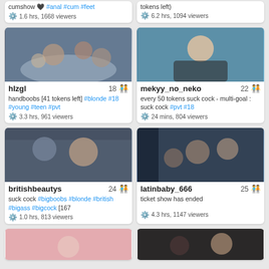[Figure (screenshot): Two-column grid of webcam stream thumbnails with username, age, description, hashtags, and viewer count for each stream. Top partial cards show cumshow text and 1.6 hrs 1668 viewers / 6.2 hrs 1094 viewers. Middle rows show hlzgl (18), mekyy_no_neko (22), britishbeautys (24), latinbaby_666 (25). Bottom row shows two more partial thumbnails.]